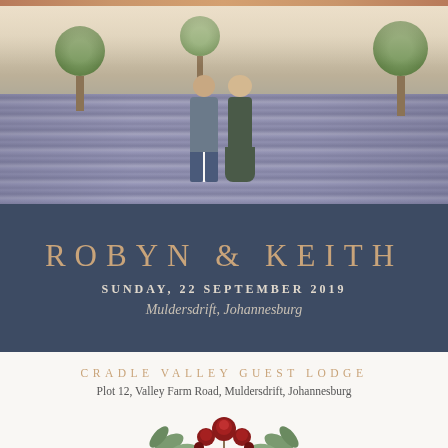[Figure (photo): Couple holding hands in a lavender field with trees in the background at golden hour]
ROBYN & KEITH
SUNDAY, 22 SEPTEMBER 2019
Muldersdrift, Johannesburg
CRADLE VALLEY GUEST LODGE
Plot 12, Valley Farm Road, Muldersdrift, Johannesburg
[Figure (illustration): Floral decoration with dark red roses and green leaves]